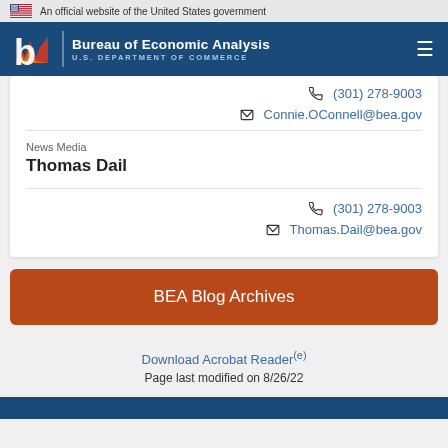An official website of the United States government
[Figure (logo): BEA Bureau of Economic Analysis U.S. Department of Commerce logo with navigation hamburger menu]
(301) 278-9003
Connie.OConnell@bea.gov
News Media
Thomas Dail
(301) 278-9003
Thomas.Dail@bea.gov
BEA Blog Archives
Download Acrobat Reader(e)
Page last modified on 8/26/22